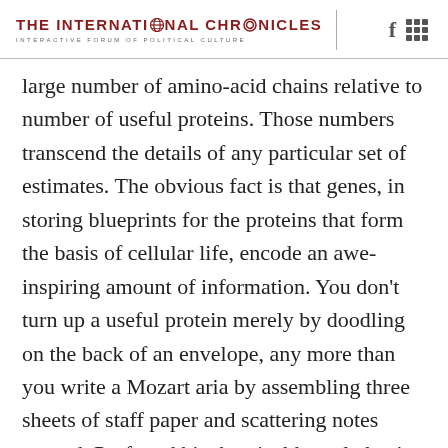THE INTERNATIONAL CHRONICLES — INTERACTIVE FORUM OF POLITICAL CULTURE
large number of amino-acid chains relative to number of useful proteins. Those numbers transcend the details of any particular set of estimates. The obvious fact is that genes, in storing blueprints for the proteins that form the basis of cellular life, encode an awe-inspiring amount of information. You don't turn up a useful protein merely by doodling on the back of an envelope, any more than you write a Mozart aria by assembling three sheets of staff paper and scattering notes around. Profound biochemical knowledge is somehow, in some sense, captured in every description of a working protein. Where on earth did it all come from?